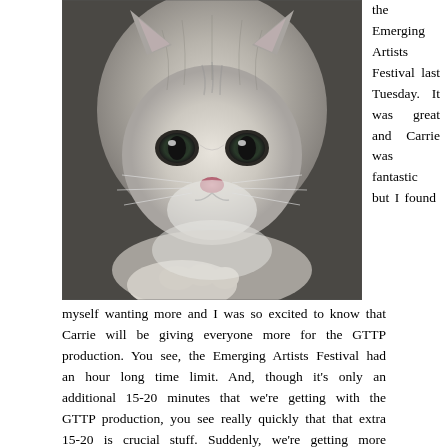[Figure (photo): Close-up photo of a fluffy grey and white kitten lying down, looking directly at the camera with large dark eyes.]
the Emerging Artists Festival last Tuesday. It was great and Carrie was fantastic but I found myself wanting more and I was so excited to know that Carrie will be giving everyone more for the GTTP production. You see, the Emerging Artists Festival had an hour long time limit. And, though it's only an additional 15-20 minutes that we're getting with the GTTP production, you see really quickly that that extra 15-20 is crucial stuff. Suddenly, we're getting more information about Snake Man, JT, the Mom with a Portal to Another Dimension, and the Dad with Control Issues. These characters that Carrie explores are literally the life's blood of this project and when you limit how much we see of them (which, out of necessity had to be done for the festival) you limit the entire show. So, come Friday night, we'll get to see all of these folks. Last week Carrie was